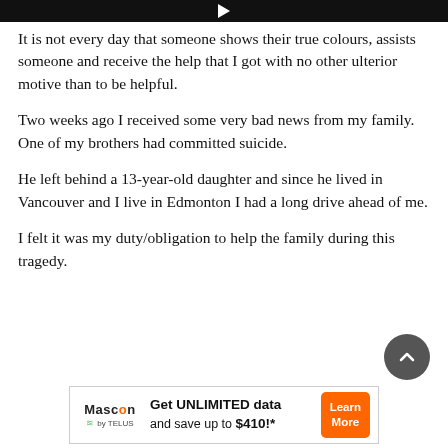[Figure (other): Black header bar with a white play/forward icon in the center]
It is not every day that someone shows their true colours, assists someone and receive the help that I got with no other ulterior motive than to be helpful.
Two weeks ago I received some very bad news from my family. One of my brothers had committed suicide.
He left behind a 13-year-old daughter and since he lived in Vancouver and I live in Edmonton I had a long drive ahead of me.
I felt it was my duty/obligation to help the family during this tragedy.
[Figure (other): Circular dark grey scroll-to-top button with an upward chevron arrow icon]
[Figure (other): Advertisement banner for Mascon by TELUS: Get UNLIMITED data and save up to $410!* with a Learn More orange button]